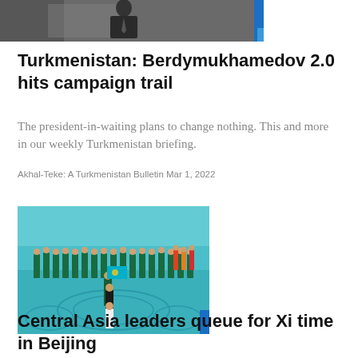[Figure (photo): Partial photo of a person in formal attire, cropped at bottom of frame, with a blue accent on the right edge]
Turkmenistan: Berdymukhamedov 2.0 hits campaign trail
The president-in-waiting plans to change nothing. This and more in our weekly Turkmenistan briefing.
Akhal-Teke: A Turkmenistan Bulletin Mar 1, 2022
[Figure (photo): Athletes in teal/green uniforms marching in a ceremony, likely Olympic or similar games opening ceremony, with decorative floor patterns and colorful crowd in background]
Central Asia leaders queue for Xi time in Beijing